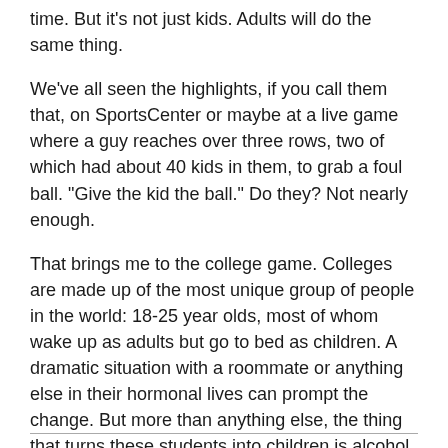time. But it's not just kids. Adults will do the same thing.
We've all seen the highlights, if you call them that, on SportsCenter or maybe at a live game where a guy reaches over three rows, two of which had about 40 kids in them, to grab a foul ball. "Give the kid the ball." Do they? Not nearly enough.
That brings me to the college game. Colleges are made up of the most unique group of people in the world: 18-25 year olds, most of whom wake up as adults but go to bed as children. A dramatic situation with a roommate or anything else in their hormonal lives can prompt the change. But more than anything else, the thing that turns these students into children is alcohol.